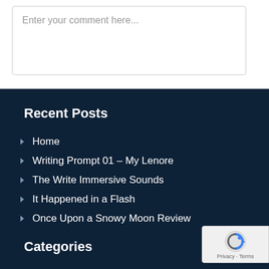Enter your comment here...
Recent Posts
Home
Writing Prompt 01 – My Lenore
The Write Immersive Sounds
It Happened in a Flash
Once Upon a Snowy Moon Review
Categories
[Figure (logo): reCAPTCHA badge with Privacy and Terms text]